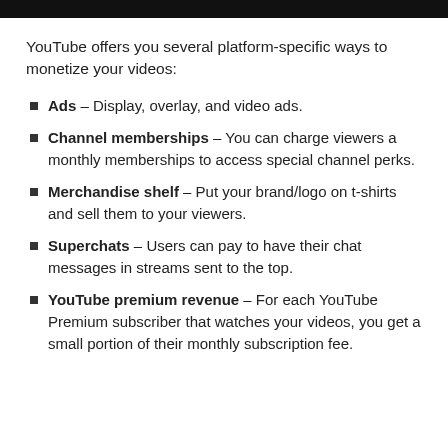YouTube offers you several platform-specific ways to monetize your videos:
Ads – Display, overlay, and video ads.
Channel memberships – You can charge viewers a monthly memberships to access special channel perks.
Merchandise shelf – Put your brand/logo on t-shirts and sell them to your viewers.
Superchats – Users can pay to have their chat messages in streams sent to the top.
YouTube premium revenue – For each YouTube Premium subscriber that watches your videos, you get a small portion of their monthly subscription fee.